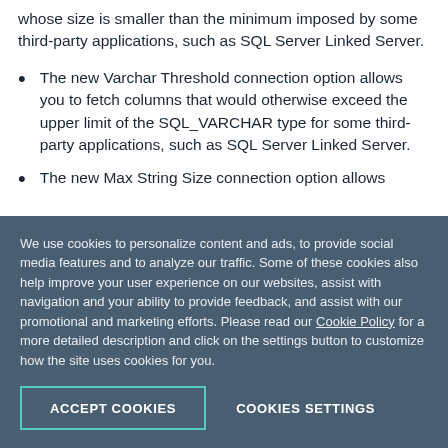whose size is smaller than the minimum imposed by some third-party applications, such as SQL Server Linked Server.
The new Varchar Threshold connection option allows you to fetch columns that would otherwise exceed the upper limit of the SQL_VARCHAR type for some third-party applications, such as SQL Server Linked Server.
The new Max String Size connection option allows you to increase the maximum size of the returned data.
We use cookies to personalize content and ads, to provide social media features and to analyze our traffic. Some of these cookies also help improve your user experience on our websites, assist with navigation and your ability to provide feedback, and assist with our promotional and marketing efforts. Please read our Cookie Policy for a more detailed description and click on the settings button to customize how the site uses cookies for you.